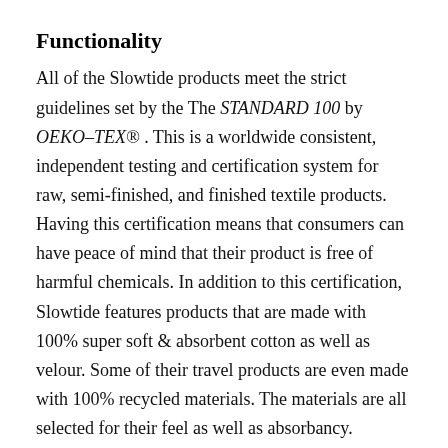Functionality
All of the Slowtide products meet the strict guidelines set by the The STANDARD 100 by OEKO–TEX® . This is a worldwide consistent, independent testing and certification system for raw, semi-finished, and finished textile products. Having this certification means that consumers can have peace of mind that their product is free of harmful chemicals. In addition to this certification, Slowtide features products that are made with 100% super soft & absorbent cotton as well as velour. Some of their travel products are even made with 100% recycled materials. The materials are all selected for their feel as well as absorbancy.
Art
Slowtide towels are not just towels. They're art. The